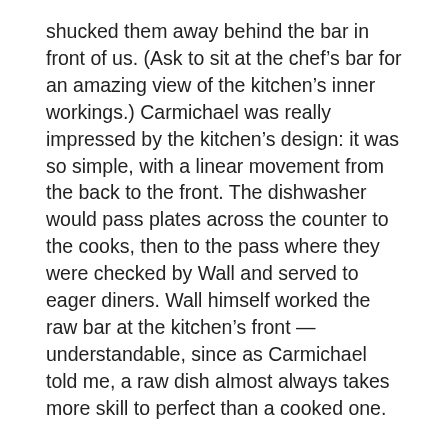shucked them away behind the bar in front of us. (Ask to sit at the chef’s bar for an amazing view of the kitchen’s inner workings.) Carmichael was really impressed by the kitchen’s design: it was so simple, with a linear movement from the back to the front. The dishwasher would pass plates across the counter to the cooks, then to the pass where they were checked by Wall and served to eager diners. Wall himself worked the raw bar at the kitchen’s front — understandable, since as Carmichael told me, a raw dish almost always takes more skill to perfect than a cooked one.
(Oh, wait: did I mention the bread and lobster butter? I could probably eat this all day; the pungent lobster flavour shines through into the slightly salted bun. It’s the broken-hearted foodie equivalent of Ben and Jerry’s Ice Cream.)